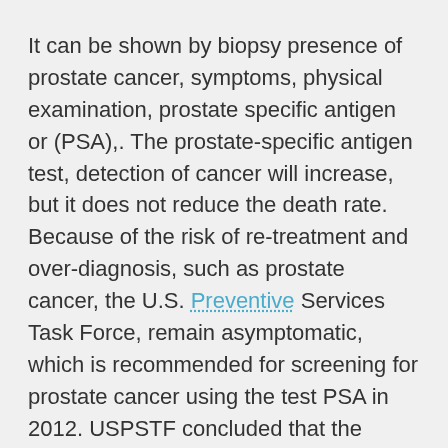It can be shown by biopsy presence of prostate cancer, symptoms, physical examination, prostate specific antigen or (PSA),. The prostate-specific antigen test, detection of cancer will increase, but it does not reduce the death rate. Because of the risk of re-treatment and over-diagnosis, such as prostate cancer, the U.S. Preventive Services Task Force, remain asymptomatic, which is recommended for screening for prostate cancer using the test PSA in 2012. USPSTF concluded that the potential benefits of the test is not exceeded expectations harm.
Management strategy for prostate cancer, should be guided by the severity of the disease. I can be low-risk tumor to track active surveillance very safely. For curative treatment, typically do not include surgery according to radiotherapy and various normal or cases of advanced